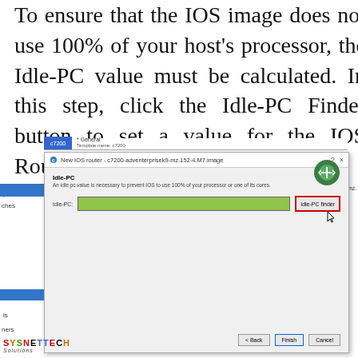To ensure that the IOS image does not use 100% of your host's processor, the Idle-PC value must be calculated. In this step, click the Idle-PC Finder button to set a value for the IOS Router you added and wait.
[Figure (screenshot): Screenshot of GNS3 'New IOS router' dialog showing the Idle-PC section with a green progress bar in the Idle-PC field and a red-outlined 'Idle-PC finder' button. The dialog title reads 'New IOS router - c7200-adventerprisek9-mz.152-4.M7.image'. The footer has Back, Finish, and Cancel buttons. A SYSNETTECH Solutions logo is visible at the bottom left.]